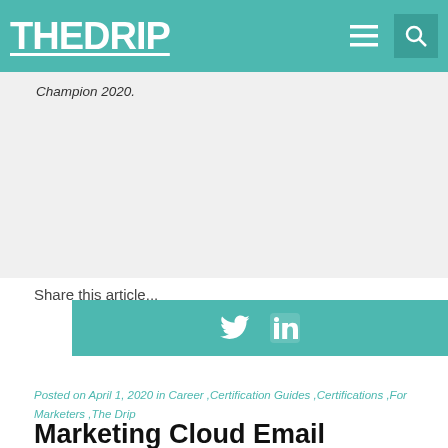THE DRIP
Champion 2020.
[Figure (other): Teal social share bar with Twitter and LinkedIn icons]
Share this article...
[Figure (other): Social share buttons: Facebook, Twitter, LinkedIn, Reddit]
Posted on April 1, 2020 in Career ,Certification Guides ,Certifications ,For Marketers ,The Drip
Marketing Cloud Email Specialist Certification Guide